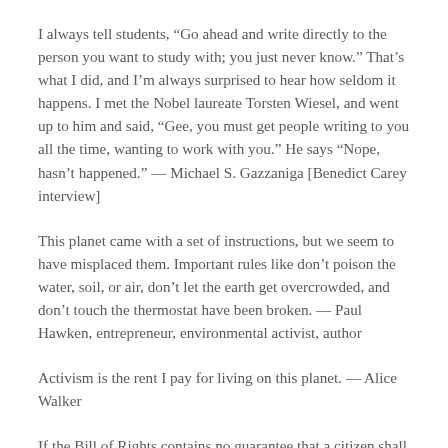I always tell students, “Go ahead and write directly to the person you want to study with; you just never know.” That’s what I did, and I’m always surprised to hear how seldom it happens. I met the Nobel laureate Torsten Wiesel, and went up to him and said, “Gee, you must get people writing to you all the time, wanting to work with you.” He says “Nope, hasn’t happened.” — Michael S. Gazzaniga [Benedict Carey interview]
This planet came with a set of instructions, but we seem to have misplaced them. Important rules like don’t poison the water, soil, or air, don’t let the earth get overcrowded, and don’t touch the thermostat have been broken. — Paul Hawken, entrepreneur, environmental activist, author
Activism is the rent I pay for living on this planet. — Alice Walker
If the Bill of Rights contains no guarantee that a citizen shall be secure against lethal poisons distributed either by private individuals or by public officials, it is surely only because our forefathers, despite their considerable wisdom and foresight, could conceive of no such problem.” — Rachel Carson